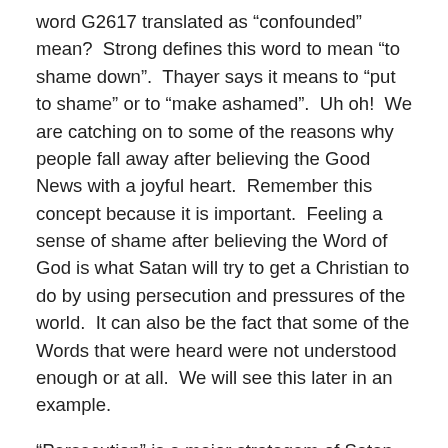word G2617 translated as “confounded” mean?  Strong defines this word to mean “to shame down”.  Thayer says it means to “put to shame” or to “make ashamed”.  Uh oh!  We are catching on to some of the reasons why people fall away after believing the Good News with a joyful heart.  Remember this concept because it is important.  Feeling a sense of shame after believing the Word of God is what Satan will try to get a Christian to do by using persecution and pressures of the world.  It can also be the fact that some of the Words that were heard were not understood enough or at all.  We will see this later in an example.
“Persecution” is a major stratagem of Satan.  Many weak newly born-again believing Christians will not be able to withstand against the outward peer pressures when someone comes and calls them a stupid idiot for believing in an old book of fables and fantasies.  Of course, the